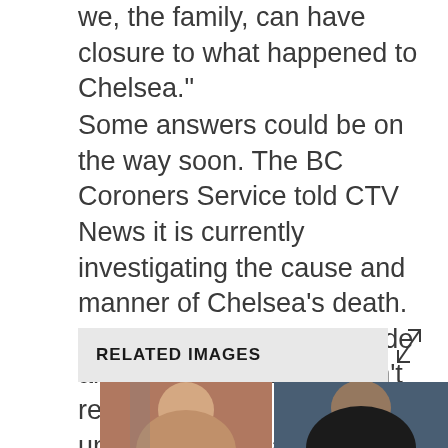we, the family, can have closure to what happened to Chelsea."
Some answers could be on the way soon. The BC Coroners Service told CTV News it is currently investigating the cause and manner of Chelsea’s death. However, it wouldn’t provide an exact timeline and won’t reveal any of its findings until the investigation is complete. The investigation could take several weeks or months to complete.
RELATED IMAGES
[Figure (photo): Two photographs of Chelsea side by side]